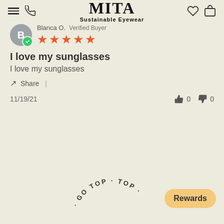MITA Sustainable Eyewear — navigation bar with hamburger, phone, heart, and bag icons
Blanca O. Verified Buyer — 5 stars
I love my sunglasses
I love my sunglasses
Share |
11/19/21    👍 0  👎 0
[Figure (other): Curved 'GO TOP' text arc at bottom center]
Rewards